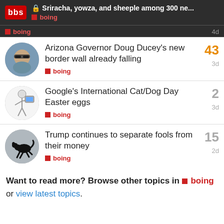🔒 Sriracha, yowza, and sheeple among 300 ne... boing
boing — 4d
Arizona Governor Doug Ducey's new border wall already falling — boing — 3d — 43 replies
Google's International Cat/Dog Day Easter eggs — boing — 3d — 2 replies
Trump continues to separate fools from their money — boing — 2d — 15 replies
Want to read more? Browse other topics in boing or view latest topics.